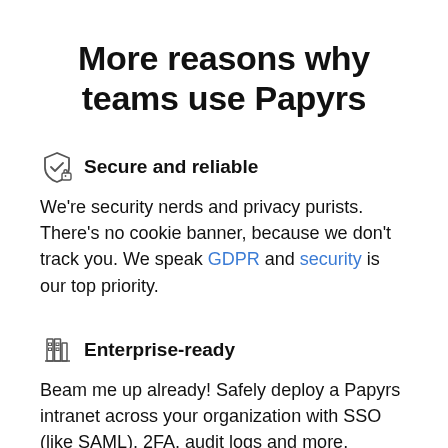More reasons why teams use Papyrs
Secure and reliable
We're security nerds and privacy purists. There's no cookie banner, because we don't track you. We speak GDPR and security is our top priority.
Enterprise-ready
Beam me up already! Safely deploy a Papyrs intranet across your organization with SSO (like SAML), 2FA, audit logs and more.